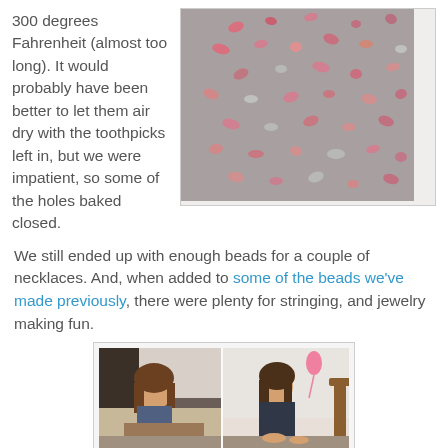300 degrees Fahrenheit (almost too long). It would probably have been better to let them air dry with the toothpicks left in, but we were impatient, so some of the holes baked closed.
[Figure (photo): Pink and white clay beads spread out on a grey baking sheet, viewed from above.]
We still ended up with enough beads for a couple of necklaces. And, when added to some of the beads we've made previously, there were plenty for stringing, and jewelry making fun.
[Figure (photo): Two young girls sitting at a table making jewelry, stringing beads. One on the left, one on the right. Photo is split down the middle showing both girls.]